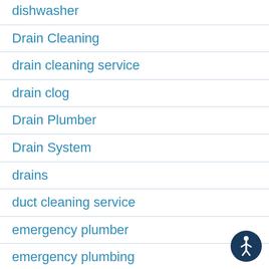dishwasher
Drain Cleaning
drain cleaning service
drain clog
Drain Plumber
Drain System
drains
duct cleaning service
emergency plumber
emergency plumbing
flood
furnace
[Figure (illustration): Accessibility icon: circular dark blue button with white human figure (wheelchair accessibility symbol)]